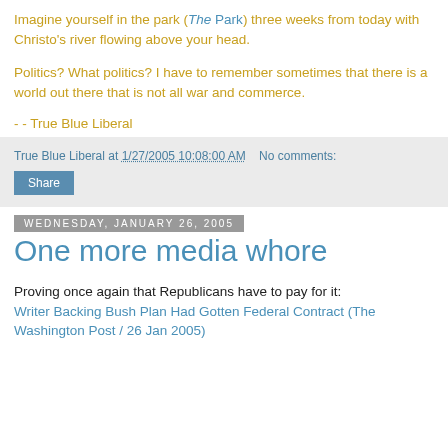Imagine yourself in the park (The Park) three weeks from today with Christo's river flowing above your head.
Politics? What politics? I have to remember sometimes that there is a world out there that is not all war and commerce.
- - True Blue Liberal
True Blue Liberal at 1/27/2005 10:08:00 AM    No comments:
Share
Wednesday, January 26, 2005
One more media whore
Proving once again that Republicans have to pay for it: Writer Backing Bush Plan Had Gotten Federal Contract (The Washington Post / 26 Jan 2005)